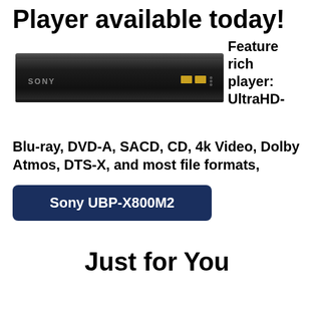Player available today!
[Figure (photo): Sony UBP-X800M2 Ultra HD Blu-ray player, black, slim rectangular device]
Feature rich player: UltraHD-Blu-ray, DVD-A, SACD, CD, 4k Video, Dolby Atmos, DTS-X, and most file formats,
Sony UBP-X800M2
Just for You